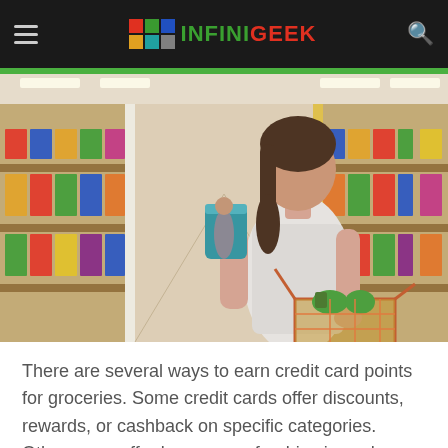INFINIGEEK
[Figure (photo): Woman in a supermarket aisle checking a product label, with a shopping cart beside her filled with groceries. Store shelves with colorful products visible in background.]
There are several ways to earn credit card points for groceries. Some credit cards offer discounts, rewards, or cashback on specific categories. Others may offer bonuses or freebies in exchange